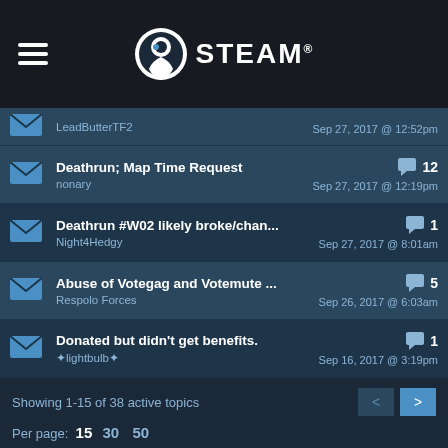[Figure (logo): Steam logo with hamburger menu icon on the left, Steam circular logo and STEAM wordmark in the center]
LeadButterTF2 — Sep 27, 2017 @ 12:52pm
Deathrun; Map Time Request — nonary — Sep 27, 2017 @ 12:19pm — 12 replies
Deathrun #W02 likely broke/chan... — Night4Hedgy — Sep 27, 2017 @ 8:01am — 1 reply
Abuse of Votegag and Votemute ... — Respolo Forces — Sep 26, 2017 @ 6:03am — 5 replies
Donated but didn't get benefits. — ✦lightbulb✦ — Sep 16, 2017 @ 3:19pm — 1 reply
Showing 1-15 of 38 active topics
Per page: 15  30  50